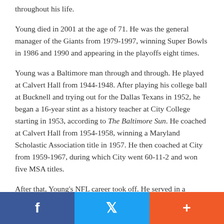throughout his life.
Young died in 2001 at the age of 71. He was the general manager of the Giants from 1979-1997, winning Super Bowls in 1986 and 1990 and appearing in the playoffs eight times.
Young was a Baltimore man through and through. He played at Calvert Hall from 1944-1948. After playing his college ball at Bucknell and trying out for the Dallas Texans in 1952, he began a 16-year stint as a history teacher at City College starting in 1953, according to The Baltimore Sun. He coached at Calvert Hall from 1954-1958, winning a Maryland Scholastic Association title in 1957. He then coached at City from 1959-1967, during which City went 60-11-2 and won five MSA titles.
After that, Young's NFL career took off. He served in a
Facebook | Twitter | +